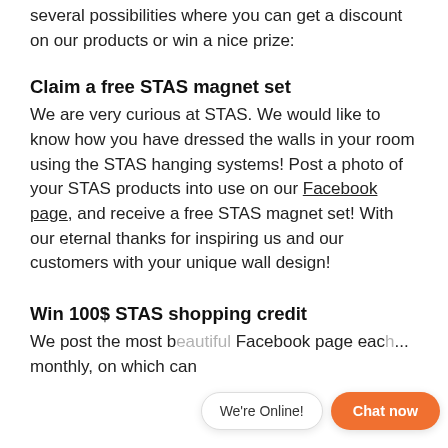several possibilities where you can get a discount on our products or win a nice prize:
Claim a free STAS magnet set
We are very curious at STAS. We would like to know how you have dressed the walls in your room using the STAS hanging systems! Post a photo of your STAS products into use on our Facebook page, and receive a free STAS magnet set! With our eternal thanks for inspiring us and our customers with your unique wall design!
Win 100$ STAS shopping credit
We post the most b... Facebook page eac... monthly, on which can